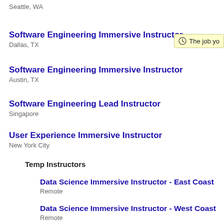Seattle, WA
Software Engineering Immersive Instructor
Dallas, TX
Software Engineering Immersive Instructor
Austin, TX
Software Engineering Lead Instructor
Singapore
User Experience Immersive Instructor
New York City
Temp Instructors
Data Science Immersive Instructor - East Coast
Remote
Data Science Immersive Instructor - West Coast
Remote